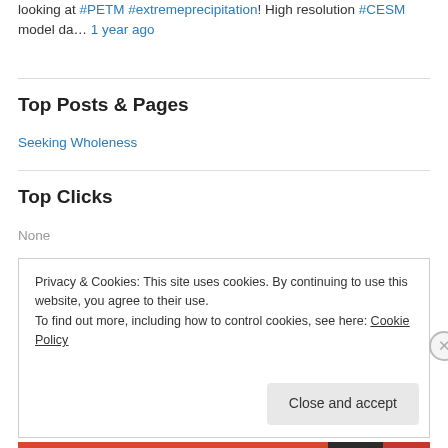looking at #PETM #extremeprecipitation! High resolution #CESM model da… 1 year ago
Top Posts & Pages
Seeking Wholeness
Top Clicks
None
Privacy & Cookies: This site uses cookies. By continuing to use this website, you agree to their use.
To find out more, including how to control cookies, see here: Cookie Policy
Close and accept